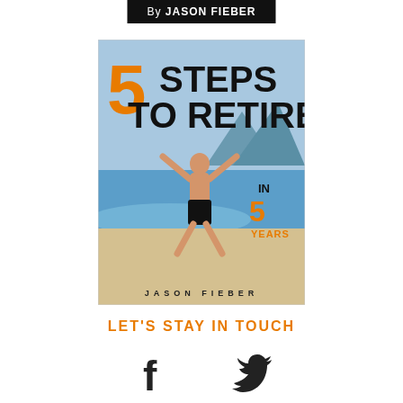By JASON FIEBER
[Figure (illustration): Book cover for '5 Steps to Retire in 5 Years' by Jason Fieber. Features large orange '5', bold black text 'STEPS TO RETIRE', a man jumping on a beach with arms spread wide, 'IN 5 YEARS' text in orange on the right side, and 'JASON FIEBER' author name at the bottom.]
LET'S STAY IN TOUCH
[Figure (illustration): Facebook 'f' logo icon in dark color]
[Figure (illustration): Twitter bird logo icon in dark color]